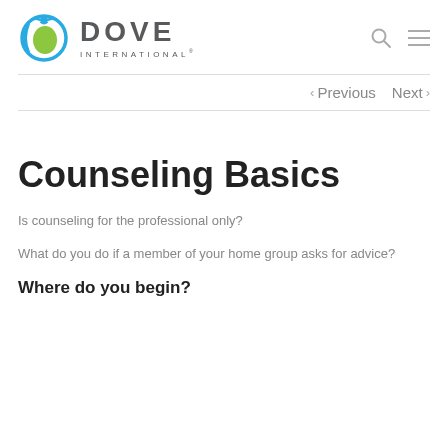[Figure (logo): Dove International logo with globe icon and text 'DOVE INTERNATIONAL']
< Previous   Next >
Counseling Basics
Is counseling for the professional only?
What do you do if a member of your home group asks for advice?
Where do you begin?